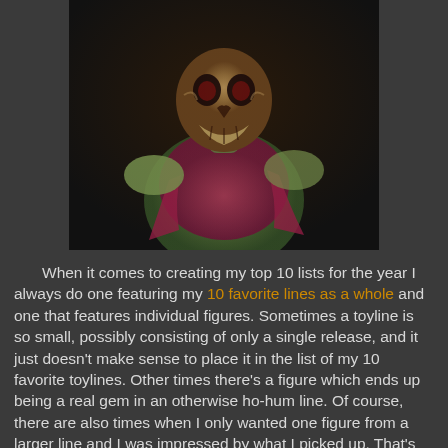[Figure (photo): A zombie or monster action figure with a skeletal face, pink/magenta torn clothing, and green-tinted skin, photographed against a dark background.]
When it comes to creating my top 10 lists for the year I always do one featuring my 10 favorite lines as a whole and one that features individual figures. Sometimes a toyline is so small, possibly consisting of only a single release, and it just doesn't make sense to place it in the list of my 10 favorite toylines. Other times there's a figure which ends up being a real gem in an otherwise ho-hum line. Of course, there are also times when I only wanted one figure from a larger line and I was impressed by what I picked up. That's where this list comes in.
Like in my previous top 10 individual figures lists, remember that individual taste really determines what ends up winning in my awards. While I do try to include figures that are objectively really well done (detailed sculpted, neat paintwork, functional articulation, no issues with breakage),